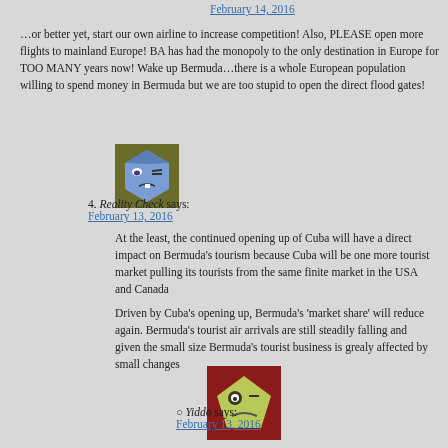February 14, 2016
…or better yet, start our own airline to increase competition! Also, PLEASE open more flights to mainland Europe! BA has had the monopoly to the only destination in Europe for TOO MANY years now! Wake up Bermuda…there is a whole European population willing to spend money in Bermuda but we are too stupid to open the direct flood gates!
[Figure (illustration): Blue cartoon avatar icon for commenter]
4. Reality Check says: February 13, 2016
At the least, the continued opening up of Cuba will have a direct impact on Bermuda's tourism because Cuba will be one more tourist market pulling its tourists from the same finite market in the USA and Canada
Driven by Cuba's opening up, Bermuda's 'market share' will reduce again. Bermuda's tourist air arrivals are still steadily falling and given the small size Bermuda's tourist business is grealy affected by small changes
[Figure (illustration): Red/green cartoon avatar icon for commenter Yiddo]
Yiddo says: February 13, 2016
Our tourist product is already toast.